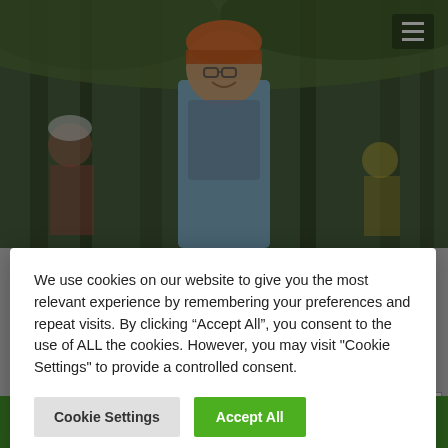[Figure (photo): Child wearing an orange helmet and glasses smiling outdoors among trees, with other children in background]
March 7, 2022
Open for St. Patrick's Weekend 2022 We are so delighted to let you know that we will be open for
We use cookies on our website to give you the most relevant experience by remembering your preferences and repeat visits. By clicking “Accept All”, you consent to the use of ALL the cookies. However, you may visit "Cookie Settings" to provide a controlled consent.
Cookie Settings
Accept All
Open Every Day from July 1st until August 31st. Open all year for Groups. The park is open every day for walkers and the car